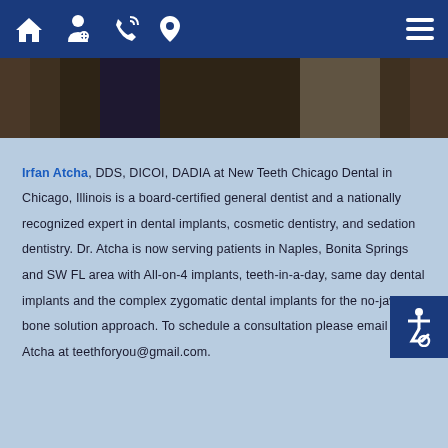Navigation bar with home, doctor, phone, location, and menu icons
[Figure (photo): Partial photo of a person in dark clothing, cropped at top]
Irfan Atcha, DDS, DICOI, DADIA at New Teeth Chicago Dental in Chicago, Illinois is a board-certified general dentist and a nationally recognized expert in dental implants, cosmetic dentistry, and sedation dentistry. Dr. Atcha is now serving patients in Naples, Bonita Springs and SW FL area with All-on-4 implants, teeth-in-a-day, same day dental implants and the complex zygomatic dental implants for the no-jaw bone solution approach. To schedule a consultation please email Dr. Atcha at teethforyou@gmail.com.